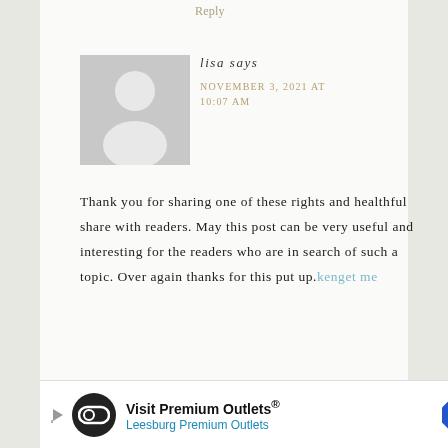Reply
[Figure (illustration): Generic user avatar: grey square with white silhouette of a person (head and shoulders)]
lisa says
NOVEMBER 3, 2021 AT 10:07 AM
Thank you for sharing one of these rights and healthful share with readers. May this post can be very useful and interesting for the readers who are in search of such a topic. Over again thanks for this put up. kenget me
[Figure (infographic): Advertisement banner: Visit Premium Outlets® Leesburg Premium Outlets, with circular logo and blue diamond arrow icon]